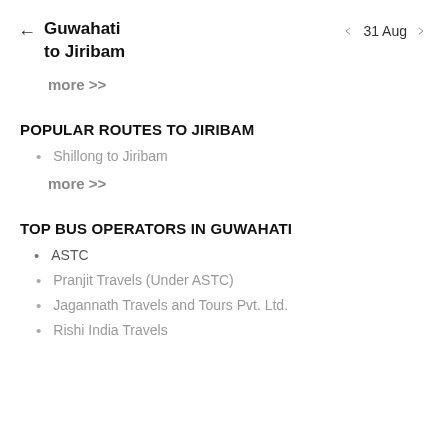Guwahati to Jiribam  ← 31 Aug →
more >>
POPULAR ROUTES TO JIRIBAM
Shillong to Jiribam
more >>
TOP BUS OPERATORS IN GUWAHATI
ASTC
Pranjit Travels (Under ASTC)
Jagannath Travels and Tours Pvt. Ltd.
Rishi India Travels